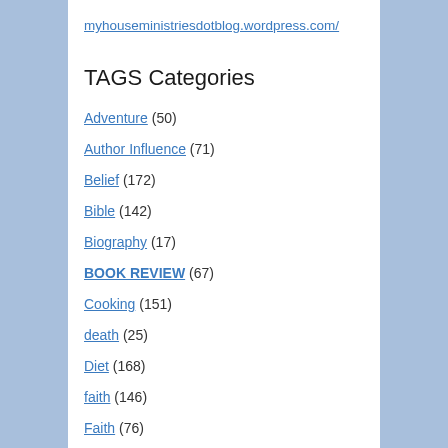myhouseministriesdotblog.wordpress.com/
TAGS Categories
Adventure (50)
Author Influence (71)
Belief (172)
Bible (142)
Biography (17)
BOOK REVIEW (67)
Cooking (151)
death (25)
Diet (168)
faith (146)
Faith (76)
family (24)